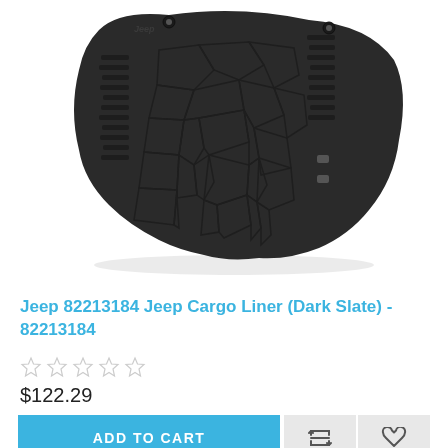[Figure (photo): Black Jeep cargo liner mat with tire tread pattern and stone texture design, photographed on white background]
Jeep 82213184 Jeep Cargo Liner (Dark Slate) - 82213184
☆☆☆☆☆
$122.29
ADD TO CART